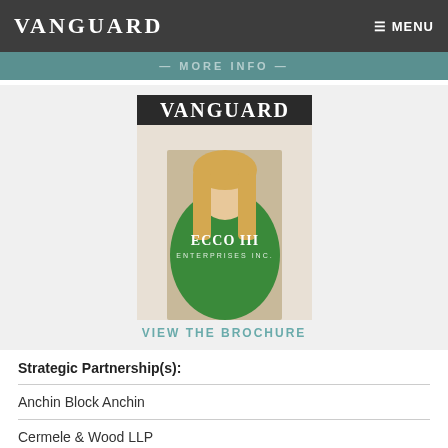VANGUARD
— MORE INFO —
[Figure (photo): Vanguard magazine cover featuring a woman in a green dress. Text on cover reads VANGUARD and ECCO III ENTERPRISES INC.]
VIEW THE BROCHURE
Strategic Partnership(s):
Anchin Block Anchin
Cermele & Wood LLP